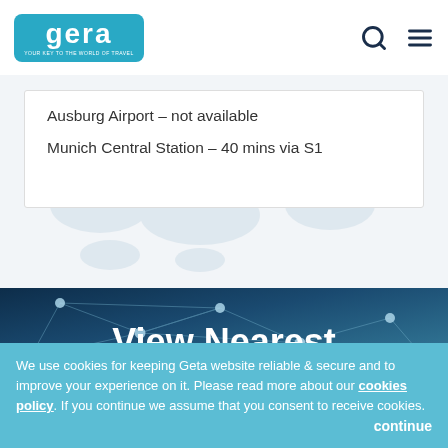Geta – your key to the world of travel (logo and navigation)
Ausburg Airport – not available
Munich Central Station – 40 mins via S1
[Figure (illustration): Network/connectivity nodes graphic with dark blue background and white connecting lines, with 'View Nearest' text overlay]
We use cookies for keeping Geta website reliable & secure and to improve your experience on it. Please read more about our cookies policy. If you continue we assume that you consent to receive cookies. continue